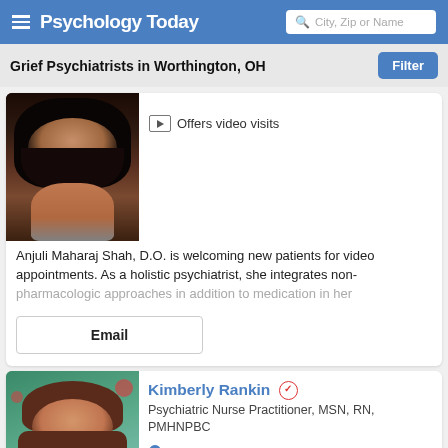Psychology Today — City, Zip or Name search
Grief Psychiatrists in Worthington, OH
[Figure (photo): Partial photo of a woman with long dark hair, cropped at top]
Offers video visits
Anjuli Maharaj Shah, D.O. is welcoming new patients for video appointments. As a holistic psychiatrist, she integrates non-pharmacologic approaches in addition to medication in her
Email
[Figure (photo): Photo of Kimberly Rankin, a woman with brown wavy hair wearing a pink top, against a floral background]
Kimberly Rankin
Psychiatric Nurse Practitioner, MSN, RN, PMHNPBC
Columbus, OH 43214
Offers video visits